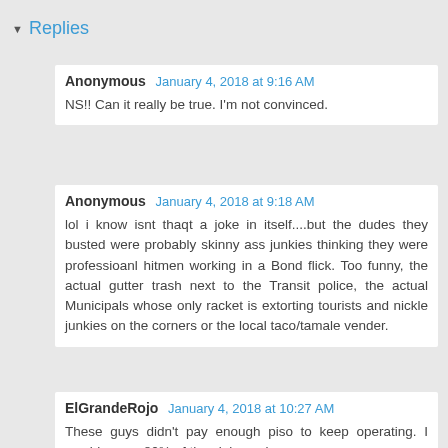Replies
Anonymous January 4, 2018 at 9:16 AM
NS!! Can it really be true. I'm not convinced.
Anonymous January 4, 2018 at 9:18 AM
lol i know isnt thaqt a joke in itself....but the dudes they busted were probably skinny ass junkies thinking they were professioanl hitmen working in a Bond flick. Too funny, the actual gutter trash next to the Transit police, the actual Municipals whose only racket is extorting tourists and nickle junkies on the corners or the local taco/tamale vender.
ElGrandeRojo January 4, 2018 at 10:27 AM
These guys didn't pay enough piso to keep operating. I would guess 80% of the violence in